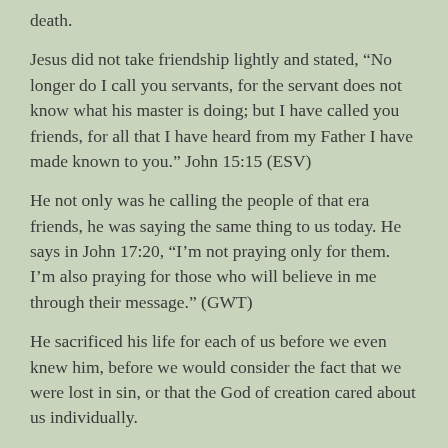death.
Jesus did not take friendship lightly and stated, “No longer do I call you servants, for the servant does not know what his master is doing; but I have called you friends, for all that I have heard from my Father I have made known to you.” John 15:15 (ESV)
He not only was he calling the people of that era friends, he was saying the same thing to us today. He says in John 17:20, “I’m not praying only for them. I’m also praying for those who will believe in me through their message.” (GWT)
He sacrificed his life for each of us before we even knew him, before we would consider the fact that we were lost in sin, or that the God of creation cared about us individually.
He calls us friends because he loves us with undying love. And he never changes. He is the same yesterday, today and forever. He loved us before we first love him. He will stand by us, support us, cheer for us, encourage us, pray for us, think the best about us (even when we mess up)